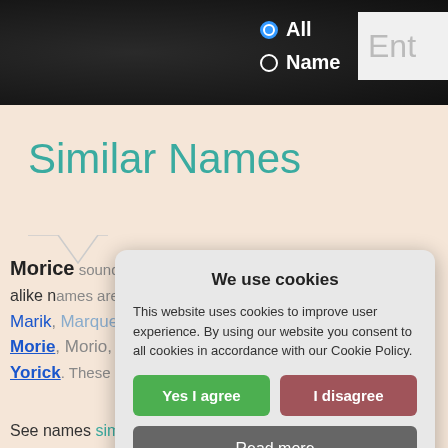All  Name  [Search box: Ent...]
Similar Names
Morice sounds alike in pronunciation to Ma... alike names are Korey, Horace, Marik, Marque, Merce, Merrick, Me... Moriel, Morio, Morlee, Mosie, Myrick... Yorick. These names tend to be more...
We use cookies
This website uses cookies to improve user experience. By using our website you consent to all cookies in accordance with our Cookie Policy.
Yes I agree   I disagree
Read more
Free cookie consent by cookie-script.com
See names similar to Morice in mean